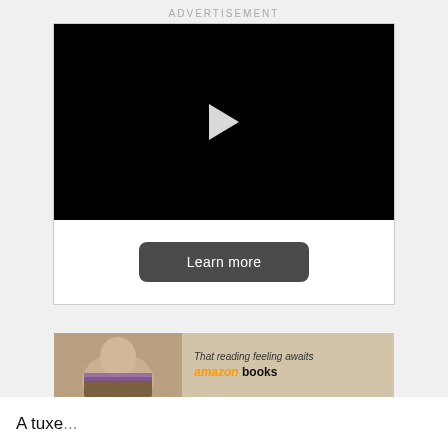ADVERTISEMENT
[Figure (screenshot): Video advertisement player with black background and white play button triangle in the center]
Learn more
[Figure (photo): Amazon Books advertisement showing a person reading a book with text 'That reading feeling awaits' and 'amazon books']
[Figure (screenshot): Tally app advertisement bar with green background showing 'Fast credit card payoff' and 'Download Now' button with close icons]
A tuxe... how ti...